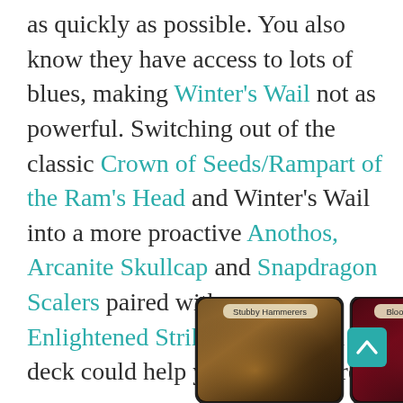as quickly as possible. You also know they have access to lots of blues, making Winter's Wail not as powerful. Switching out of the classic Crown of Seeds/Rampart of the Ram's Head and Winter's Wail into a more proactive Anothos, Arcanite Skullcap and Snapdragon Scalers paired with some Enlightened Strikes in the main deck could help you put pressure on your opponent, rather than rely on a standard fatigue plan.
[Figure (illustration): Two trading card game cards partially visible at bottom of page. Left card labeled 'Stubby Hammerers' with fantasy warrior art. Right card labeled 'Bloodsheath Skeleta' with dark horror art. A teal scroll-to-top button appears at bottom right.]